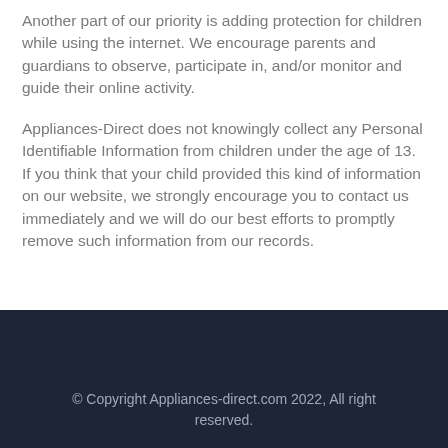Another part of our priority is adding protection for children while using the internet. We encourage parents and guardians to observe, participate in, and/or monitor and guide their online activity.
Appliances-Direct does not knowingly collect any Personal Identifiable Information from children under the age of 13. If you think that your child provided this kind of information on our website, we strongly encourage you to contact us immediately and we will do our best efforts to promptly remove such information from our records.
© Copyright Appliances-direct.com 2022, All right reserved.